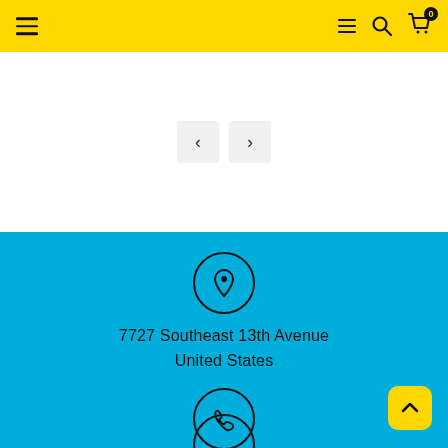Navigation header with menu, search, and cart icons
[Figure (screenshot): White area with previous and next navigation arrow buttons]
7727 Southeast 13th Avenue
United States
503-719-7670